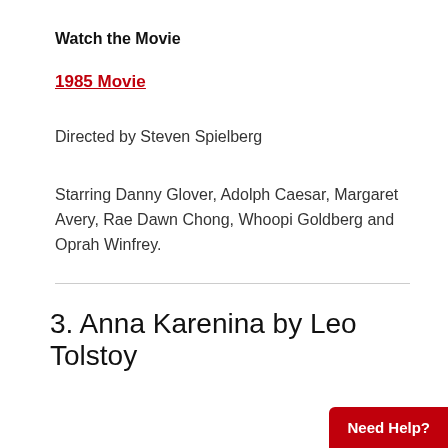Watch the Movie
1985 Movie
Directed by Steven Spielberg
Starring Danny Glover, Adolph Caesar, Margaret Avery, Rae Dawn Chong, Whoopi Goldberg and Oprah Winfrey.
3. Anna Karenina by Leo Tolstoy
Need Help?